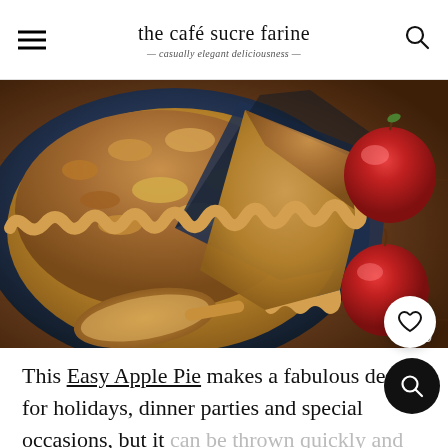the café sucre farine — casually elegant deliciousness —
[Figure (photo): Overhead view of an apple crumble pie in a dark blue ceramic dish with a slice removed, two red apples, and a wooden spoon on a wooden surface. Number 259 visible in corner.]
This Easy Apple Pie makes a fabulous dessert for holidays, dinner parties and special occasions, but it can be thrown quickly and with minimal effort. That makes it perfect for making an ordinary day quite